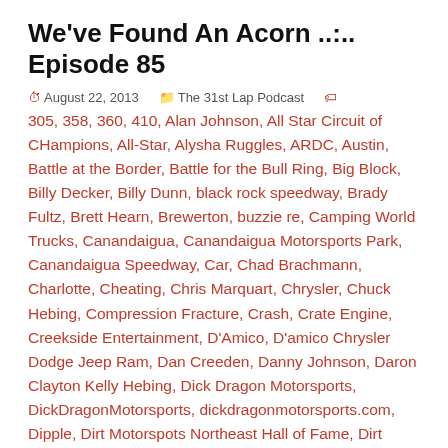We've Found An Acorn ..:.. Episode 85
August 22, 2013   The 31st Lap Podcast   305, 358, 360, 410, Alan Johnson, All Star Circuit of CHampions, All-Star, Alysha Ruggles, ARDC, Austin, Battle at the Border, Battle for the Bull Ring, Big Block, Billy Decker, Billy Dunn, black rock speedway, Brady Fultz, Brett Hearn, Brewerton, buzzie re, Camping World Trucks, Canandaigua, Canandaigua Motorsports Park, Canandaigua Speedway, Car, Chad Brachmann, Charlotte, Cheating, Chris Marquart, Chrysler, Chuck Hebing, Compression Fracture, Crash, Crate Engine, Creekside Entertainment, D'Amico, D'amico Chrysler Dodge Jeep Ram, Dan Creeden, Danny Johnson, Daron Clayton Kelly Hebing, Dick Dragon Motorsports, DickDragonMotorsports, dickdragonmotorsports.com, Dipple, Dirt Motorspots Northeast Hall of Fame, Dirt Track Digest, Dirtcar, DirtTrackDigest.com, Dodge, Doug Emery, DTD, Duane Howard, East Bay Raceway, Eldora, Empire Super Sprints, Enduro, Fingerlakes1.com, five mile point, Fonda, Fonda Speedway, fulton, Grandview, Hall of Fame, Jay Fish, Jimmie Johnson, Kasey Kahne, Kramer Williamson, Kyle Busch, Kyle Larson, Late Models, LIncoln Raceway, Lucas Oil, Matt Crafton, Matt